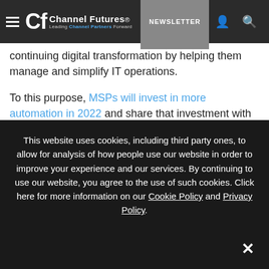Channel Futures — Leading Channel Partners Forward | NEWSLETTER
continuing digital transformation by helping them manage and simplify IT operations.
To this purpose, MSPs will invest in more automation in 2022 and share that investment with their customers to bring them better, more proactive IT services. With the adoption and continuation of work-from-home and the hybrid office, MSPs will further rely on their technology
This website uses cookies, including third party ones, to allow for analysis of how people use our website in order to improve your experience and our services. By continuing to use our website, you agree to the use of such cookies. Click here for more information on our Cookie Policy and Privacy Policy.